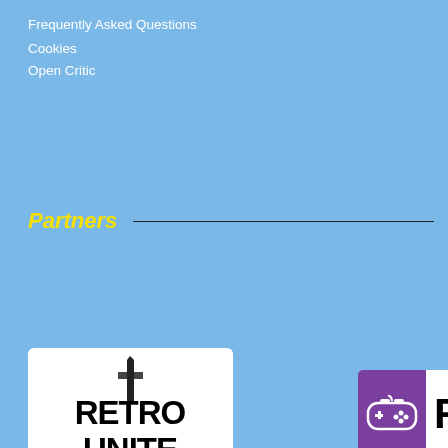Frequently Asked Questions
Cookies
Open Critic
Partners
[Figure (logo): Retro Unite logo - black and white pixelated game controller style text]
[Figure (logo): Funstock logo - purple game controller icon with FUNSTOCK text]
[Figure (logo): Axia Media logo - orange/yellow triangle icon with Media text]